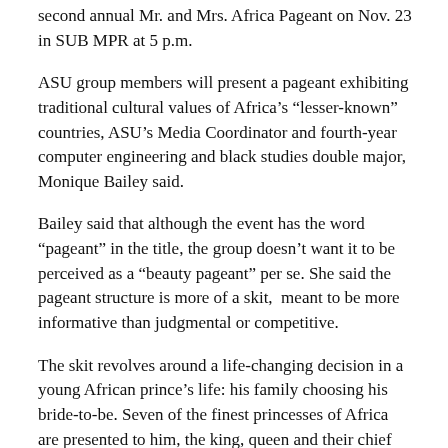second annual Mr. and Mrs. Africa Pageant on Nov. 23 in SUB MPR at 5 p.m.
ASU group members will present a pageant exhibiting traditional cultural values of Africa’s “lesser-known” countries, ASU’s Media Coordinator and fourth-year computer engineering and black studies double major, Monique Bailey said.
Bailey said that although the event has the word “pageant” in the title, the group doesn’t want it to be perceived as a “beauty pageant” per se. She said the pageant structure is more of a skit,  meant to be more informative than judgmental or competitive.
The skit revolves around a life-changing decision in a young African prince’s life: his family choosing his bride-to-be. Seven of the finest princesses of Africa are presented to him, the king, queen and their chief advisors for consideration.
Of the seven lovely princesses presented, only one is suitable to be named the next queen. These potential queens must present their favorable qualities to the royal family and their closest advisors in an